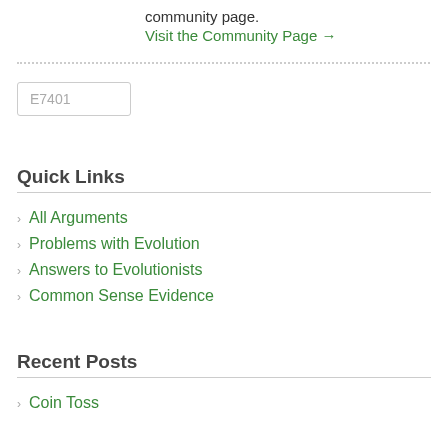community page.
Visit the Community Page →
E7401
Quick Links
All Arguments
Problems with Evolution
Answers to Evolutionists
Common Sense Evidence
Recent Posts
Coin Toss